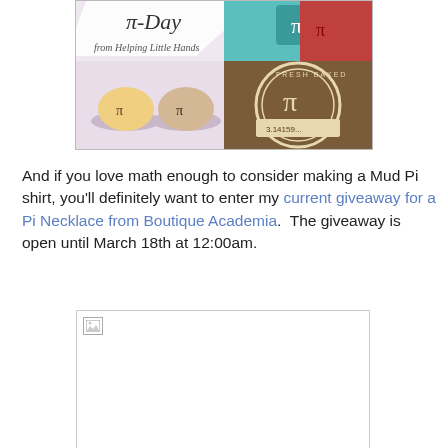[Figure (photo): Pi Day collage image from Helping Little Hands showing pi-decorated cupcakes and a 'Fresh Baked Pi 3.14159...' stamp/logo]
And if you love math enough to consider making a Mud Pi shirt, you'll definitely want to enter my current giveaway for a Pi Necklace from Boutique Academia.  The giveaway is open until March 18th at 12:00am.
[Figure (photo): Broken/missing image placeholder showing a small broken image icon in top-left corner of a white box with a border]